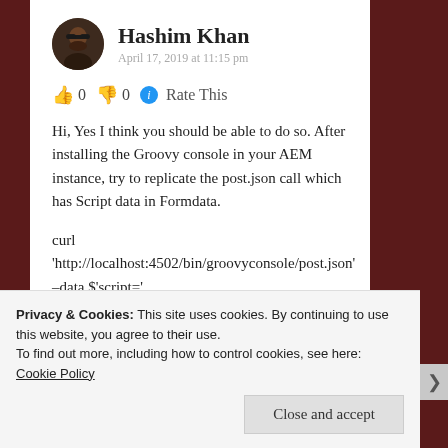Hashim Khan
April 17, 2019 at 11:15 pm
👍 0 👎 0 ℹ Rate This
Hi, Yes I think you should be able to do so. After installing the Groovy console in your AEM instance, try to replicate the post.json call which has Script data in Formdata.
curl
'http://localhost:4502/bin/groovyconsole/post.json'
–data $'script='
Privacy & Cookies: This site uses cookies. By continuing to use this website, you agree to their use.
To find out more, including how to control cookies, see here: Cookie Policy
Close and accept